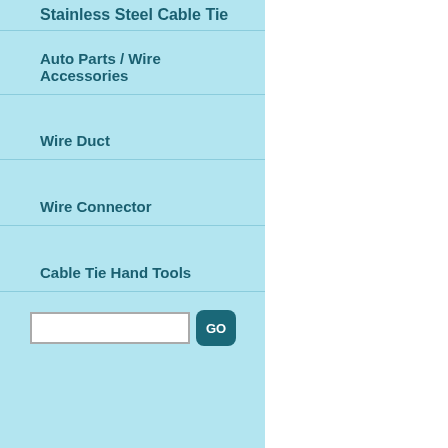Stainless Steel Cable Tie
Auto Parts / Wire Accessories
Wire Duct
Wire Connector
Cable Tie Hand Tools
Product Introduction
Tensile Strength 18Lbs
Material: Nylon 66
Material Flammability Rating:
ROHS Compliancy
Color: Natural / Black / Custom
Function Explanation
These highly durable miniatur intended to exceed 18 lbs)